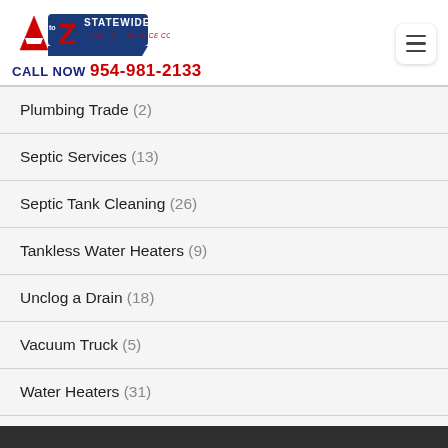[Figure (logo): A to Z Statewide Plumbing logo with text 'THE FULL SERVICE COMPANY' and phone number 'CALL NOW 954-981-2133']
Plumbing Trade (2)
Septic Services (13)
Septic Tank Cleaning (26)
Tankless Water Heaters (9)
Unclog a Drain (18)
Vacuum Truck (5)
Water Heaters (31)